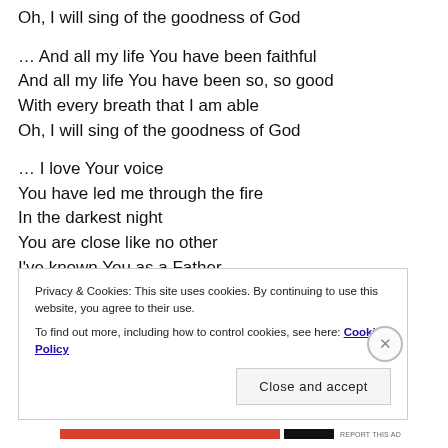Oh, I will sing of the goodness of God
… And all my life You have been faithful
And all my life You have been so, so good
With every breath that I am able
Oh, I will sing of the goodness of God
… I love Your voice
You have led me through the fire
In the darkest night
You are close like no other
I've known You as a Father
I've known You as a Friend
Privacy & Cookies: This site uses cookies. By continuing to use this website, you agree to their use.
To find out more, including how to control cookies, see here: Cookie Policy
Close and accept